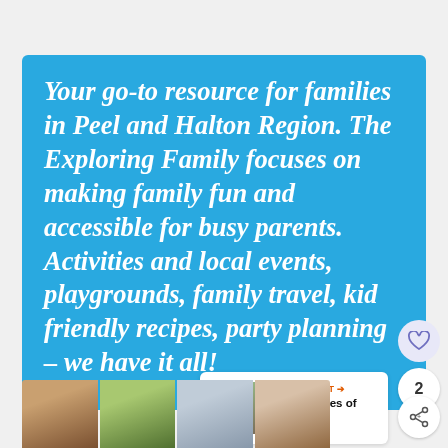Your go-to resource for families in Peel and Halton Region. The Exploring Family focuses on making family fun and accessible for busy parents. Activities and local events, playgrounds, family travel, kid friendly recipes, party planning – we have it all!
[Figure (screenshot): What's Next panel showing '100+ Pictures of Beaches...' with thumbnail]
[Figure (photo): Bottom strip of four family/lifestyle photos]